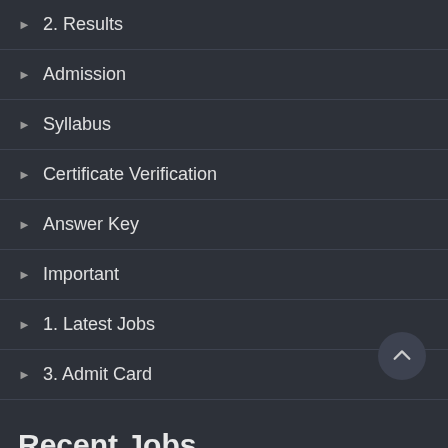2. Results
Admission
Syllabus
Certificate Verification
Answer Key
Important
1. Latest Jobs
3. Admit Card
Recent Jobs